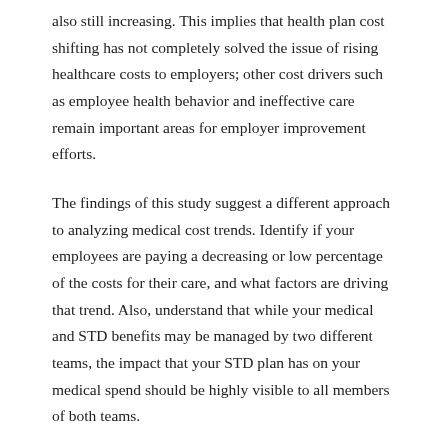also still increasing. This implies that health plan cost shifting has not completely solved the issue of rising healthcare costs to employers; other cost drivers such as employee health behavior and ineffective care remain important areas for employer improvement efforts.
The findings of this study suggest a different approach to analyzing medical cost trends. Identify if your employees are paying a decreasing or low percentage of the costs for their care, and what factors are driving that trend. Also, understand that while your medical and STD benefits may be managed by two different teams, the impact that your STD plan has on your medical spend should be highly visible to all members of both teams.
Although not all industries are represented in this particular study, the link between STD claimants and medical spend referenced at the beginning of this paper has been present in all